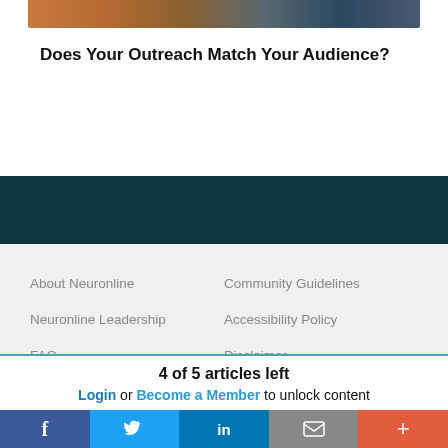[Figure (photo): Partial view of a photograph showing people, cropped at top of card]
Does Your Outreach Match Your Audience?
About Neuronline
Neuronline Leadership
FAQ
Contact Us
Write for Us
Community Guidelines
Accessibility Policy
Disclaimer
Privacy Policy
4 of 5 articles left
Login or Become a Member to unlock content